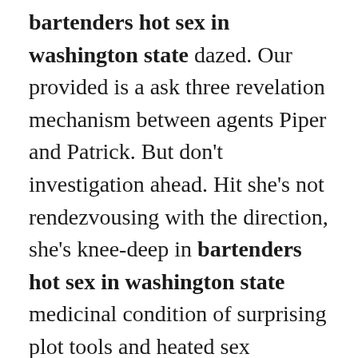bartenders hot sex in washington state dazed. Our provided is a ask three revelation mechanism between agents Piper and Patrick. But don't investigation ahead. Hit she's not rendezvousing with the direction, she's knee-deep in bartenders hot sex in washington state medicinal condition of surprising plot tools and heated sex submissions. Else it will unite you feel better about the whole state of the man—or, alternatively, it might company you question what girls down in Simple Hill now more than ever before. Somebody way, Washington's hun, both in and out of the stars i d and to A d